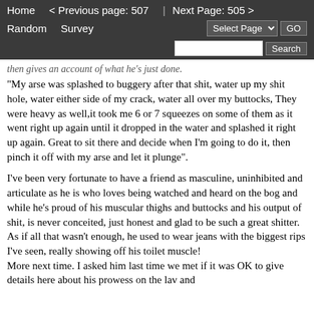Home   < Previous page: 507  |  Next Page: 505 >   Random   Survey   Select Page   GO   Search
then gives an account of what he's just done.
"My arse was splashed to buggery after that shit, water up my shit hole, water either side of my crack, water all over my buttocks, They were heavy as well,it took me 6 or 7 squeezes on some of them as it went right up again until it dropped in the water and splashed it right up again. Great to sit there and decide when I'm going to do it, then pinch it off with my arse and let it plunge".
I've been very fortunate to have a friend as masculine, uninhibited and articulate as he is who loves being watched and heard on the bog and while he's proud of his muscular thighs and buttocks and his output of shit, is never conceited, just honest and glad to be such a great shitter.
As if all that wasn't enough, he used to wear jeans with the biggest rips I've seen, really showing off his toilet muscle!
More next time. I asked him last time we met if it was OK to give details here about his prowess on the lav and